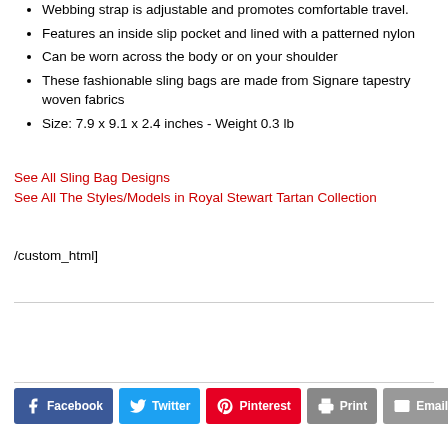Webbing strap is adjustable and promotes comfortable travel.
Features an inside slip pocket and lined with a patterned nylon
Can be worn across the body or on your shoulder
These fashionable sling bags are made from Signare tapestry woven fabrics
Size: 7.9 x 9.1 x 2.4 inches - Weight 0.3 lb
See All Sling Bag Designs
See All The Styles/Models in Royal Stewart Tartan Collection
/custom_html]
Facebook  Twitter  Pinterest  Print  Email